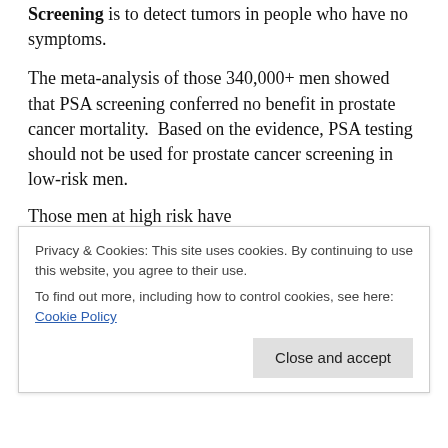Screening is to detect tumors in people who have no symptoms.
The meta-analysis of those 340,000+ men showed that PSA screening conferred no benefit in prostate cancer mortality. Based on the evidence, PSA testing should not be used for prostate cancer screening in low-risk men.
Those men at high risk have
first-degree relatives with prostate cancer (the more first-degree relatives, the more risk) or
are African American (as the prostate cancer may be
Privacy & Cookies: This site uses cookies. By continuing to use this website, you agree to their use.
To find out more, including how to control cookies, see here: Cookie Policy